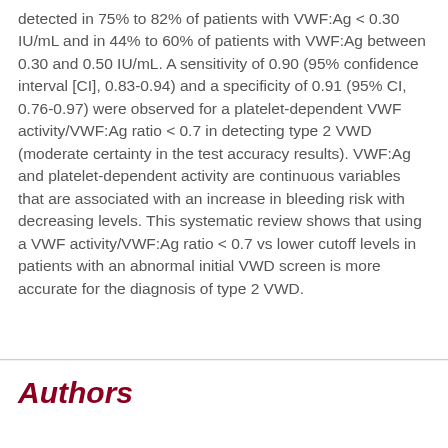detected in 75% to 82% of patients with VWF:Ag < 0.30 IU/mL and in 44% to 60% of patients with VWF:Ag between 0.30 and 0.50 IU/mL. A sensitivity of 0.90 (95% confidence interval [CI], 0.83-0.94) and a specificity of 0.91 (95% CI, 0.76-0.97) were observed for a platelet-dependent VWF activity/VWF:Ag ratio < 0.7 in detecting type 2 VWD (moderate certainty in the test accuracy results). VWF:Ag and platelet-dependent activity are continuous variables that are associated with an increase in bleeding risk with decreasing levels. This systematic review shows that using a VWF activity/VWF:Ag ratio < 0.7 vs lower cutoff levels in patients with an abnormal initial VWD screen is more accurate for the diagnosis of type 2 VWD.
Authors